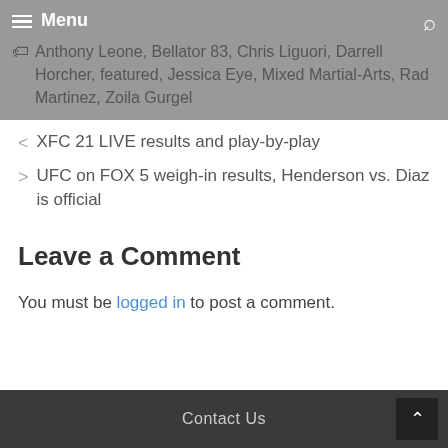Menu | Anthony Leone, Bellator 83, Chris Liguori, Darrell Horcher, featured, Jessica Eye, Mixed Martial-Arts, Rad Martinez, Zoila Gurgel
XFC 21 LIVE results and play-by-play
UFC on FOX 5 weigh-in results, Henderson vs. Diaz is official
Leave a Comment
You must be logged in to post a comment.
Contact Us